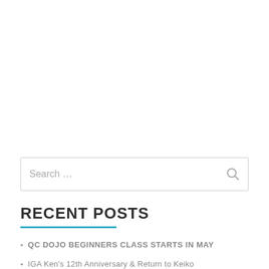[Figure (other): Search input box with placeholder text 'Search ...' and a search icon on the right]
RECENT POSTS
QC DOJO BEGINNERS CLASS STARTS IN MAY
IGA Ken's 12th Anniversary & Return to Keiko